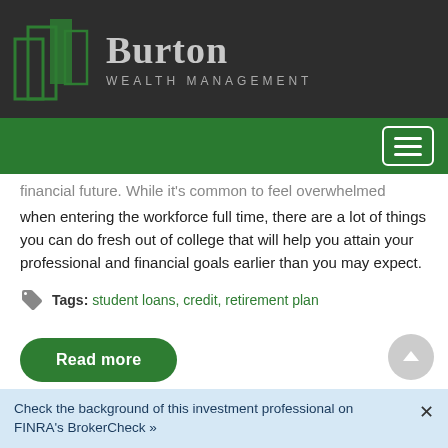[Figure (logo): Burton Wealth Management logo with green overlapping rectangles/bar chart icon and white text on dark background]
Burton WEALTH MANAGEMENT
financial future. While it's common to feel overwhelmed when entering the workforce full time, there are a lot of things you can do fresh out of college that will help you attain your professional and financial goals earlier than you may expect.
Tags: student loans, credit, retirement plan
Read more
Check the background of this investment professional on FINRA's BrokerCheck »